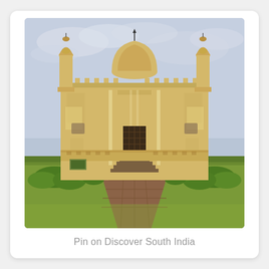[Figure (photo): A yellow-painted historic Indian mausoleum or mosque-style building with a central dome, ornate minarets at corners, decorative battlements, and a large arched doorway with steps leading up. Formal garden pathway of brick pavers flanked by green lawns and shrubs in the foreground. Cloudy sky in background. Likely Tipu Sultan's tomb or similar Mughal-influenced architecture in South India.]
Pin on Discover South India